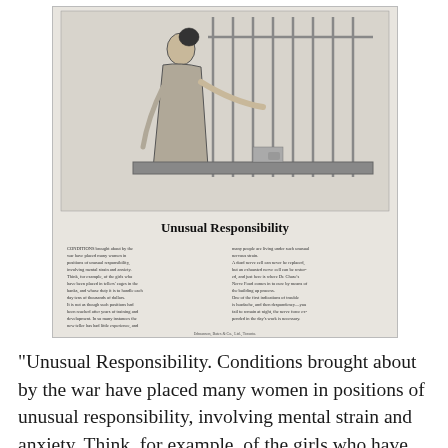[Figure (illustration): Scanned vintage newspaper advertisement titled 'Unusual Responsibility'. Shows an illustration of a woman working at a counter or desk with bars/cage in background (bank teller setting). Below the illustration is advertising text for Dr. Chase's Nerve Food product, discussing how wartime conditions placed women in positions of unusual responsibility involving mental strain and anxiety.]
"Unusual Responsibility. Conditions brought about by the war have placed many women in positions of unusual responsibility, involving mental strain and anxiety. Think, for example, of the girls who have been placed in tellers'